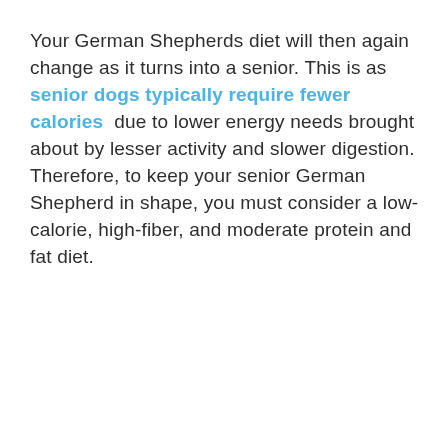Your German Shepherds diet will then again change as it turns into a senior. This is as senior dogs typically require fewer calories due to lower energy needs brought about by lesser activity and slower digestion. Therefore, to keep your senior German Shepherd in shape, you must consider a low-calorie, high-fiber, and moderate protein and fat diet.